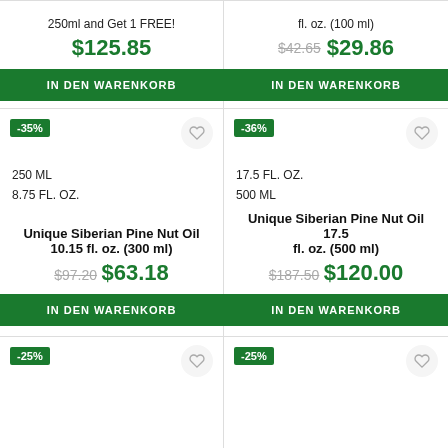250ml and Get 1 FREE!
$125.85
IN DEN WARENKORB
fl. oz. (100 ml)
$42.65 $29.86
IN DEN WARENKORB
-35%
250 ML
8.75 FL. OZ.
Unique Siberian Pine Nut Oil 10.15 fl. oz. (300 ml)
$97.20 $63.18
IN DEN WARENKORB
-36%
17.5 FL. OZ.
500 ML
Unique Siberian Pine Nut Oil 17.5 fl. oz. (500 ml)
$187.50 $120.00
IN DEN WARENKORB
-25%
-25%